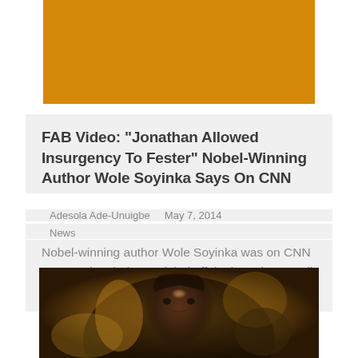[Figure (illustration): Orange/amber colored banner rectangle at top center of page]
FAB Video: “Jonathan Allowed Insurgency To Fester” Nobel-Winning Author Wole Soyinka Says On CNN
Adesola Ade-Unuigbe    May 7, 2014
News
Nobel-winning author Wole Soyinka was on CNN on Tuesday during a global affairs interview to talk about the abduction of over 200 schoolgirls in…
[Figure (photo): Portrait photo of a young Black woman with natural hair, looking directly at the camera, against a warm earthy background]